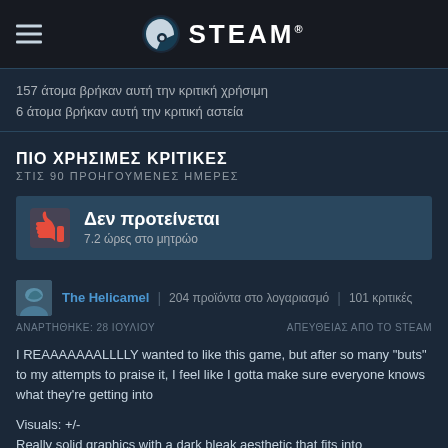[Figure (logo): Steam logo with hamburger menu icon on the left and Steam wordmark with icon on center]
157 άτομα βρήκαν αυτή την κριτική χρήσιμη
6 άτομα βρήκαν αυτή την κριτική αστεία
ΠΙΟ ΧΡΗΣΙΜΕΣ ΚΡΙΤΙΚΕΣ
ΣΤΙΣ 90 ΠΡΟΗΓΟΥΜΕΝΕΣ ΗΜΕΡΕΣ
Δεν προτείνεται
7.2 ώρες στο μητρώο
The Helicamel | 204 προϊόντα στο λογαριασμό | 101 κριτικές
ΑΝΑΡΤΗΘΗΚΕ: 28 ΙΟΥΛΙΟΥ
ΑΠΕΥΘΕΙΑΣ ΑΠΟ ΤΟ STEAM
I REAAAAAAALLLLY wanted to like this game, but after so many "buts" to my attempts to praise it, I feel like I gotta make sure everyone knows what they're getting into
Visuals: +/-
Really solid graphics with a dark bleak aesthetic that fits into